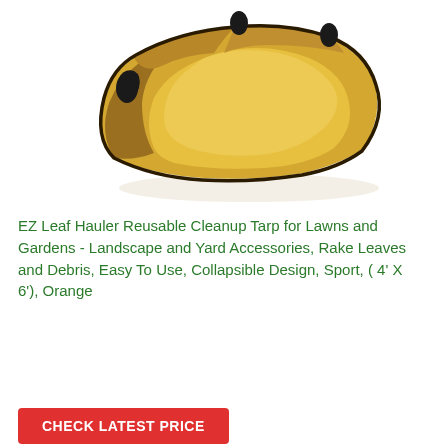[Figure (photo): An orange/yellow EZ Leaf Hauler collapsible cleanup tarp with black handles, shown open and slightly filled, photographed on a white background.]
EZ Leaf Hauler Reusable Cleanup Tarp for Lawns and Gardens - Landscape and Yard Accessories, Rake Leaves and Debris, Easy To Use, Collapsible Design, Sport, ( 4' X 6'), Orange
CHECK LATEST PRICE